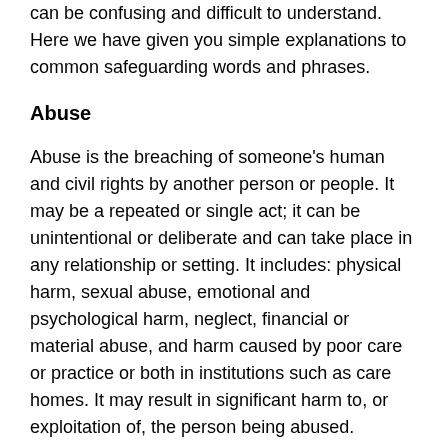can be confusing and difficult to understand. Here we have given you simple explanations to common safeguarding words and phrases.
Abuse
Abuse is the breaching of someone's human and civil rights by another person or people. It may be a repeated or single act; it can be unintentional or deliberate and can take place in any relationship or setting. It includes: physical harm, sexual abuse, emotional and psychological harm, neglect, financial or material abuse, and harm caused by poor care or practice or both in institutions such as care homes. It may result in significant harm to, or exploitation of, the person being abused.
Adult at risk
Anyone aged 18 years or over who may be unable to take care of themselves due to age related frailty